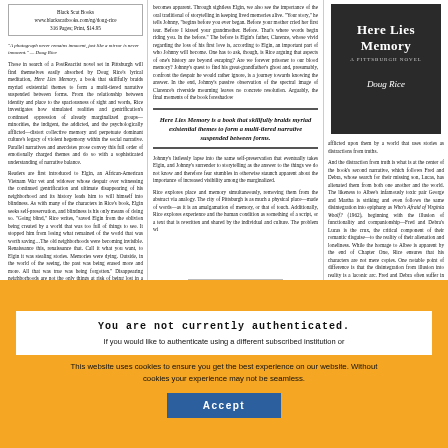Black Scat Books
www.blackscatbooks.com/ng/doug-rice
316 Pages; Print, $14.95
"A photograph never remains innocent, just like a mirror is never innocent." — Doug Rice
Those in search of a PostReactist novel set in Pittsburgh will find themselves easily absorbed by Doug Rice's lyrical meditation, Here Lies Memory, a book that skillfully braids myriad existential themes to form a multi-tiered narrative suspended between forms.
[Figure (photo): Book cover of 'Here Lies Memory' by Doug Rice, dark background with storefront reflection]
afflicted upon them by a world that uses stories as distractions from truths.

And the distraction from truth is what is at the center of the book's second narrative...
Here Lies Memory is a book that skillfully braids myriad existential themes to form a multi-tiered narrative suspended between forms.
Johnny's listlessly lapse into the same self-preservation that eventually takes Elgin...
Rice explores place and memory simultaneously, removing them from the abstract via analogy...
collapse
You are not currently authenticated.
If you would like to authenticate using a different subscribed institution or
This website uses cookies to ensure you get the best experience on our website. Without cookies your experience may not be seamless.
Accept